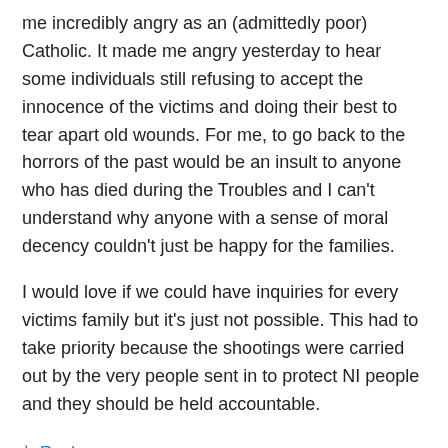me incredibly angry as an (admittedly poor) Catholic. It made me angry yesterday to hear some individuals still refusing to accept the innocence of the victims and doing their best to tear apart old wounds. For me, to go back to the horrors of the past would be an insult to anyone who has died during the Troubles and I can't understand why anyone with a sense of moral decency couldn't just be happy for the families.
I would love if we could have inquiries for every victims family but it's just not possible. This had to take priority because the shootings were carried out by the very people sent in to protect NI people and they should be held accountable.
↳ Reply